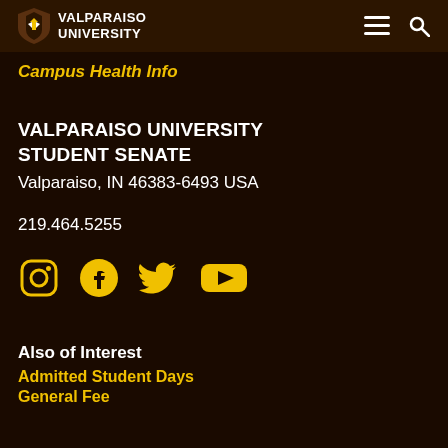VALPARAISO UNIVERSITY
Campus Health Info
VALPARAISO UNIVERSITY STUDENT SENATE
Valparaiso, IN 46383-6493 USA
219.464.5255
[Figure (other): Social media icons: Instagram, Facebook, Twitter, YouTube in gold/yellow]
Also of Interest
Admitted Student Days
General Fee